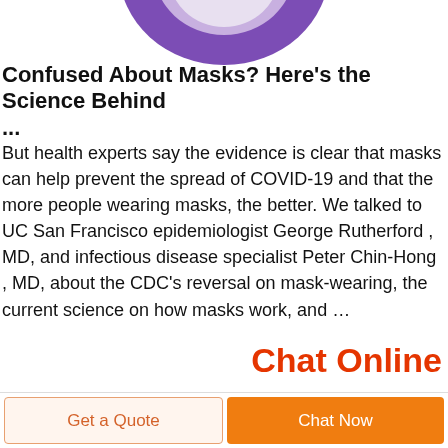[Figure (photo): Partial view of a purple face mask, cropped at the top of the page, showing the lower arc of a circular purple mask with a white/grey inner area.]
Confused About Masks? Here's the Science Behind ...
But health experts say the evidence is clear that masks can help prevent the spread of COVID-19 and that the more people wearing masks, the better. We talked to UC San Francisco epidemiologist George Rutherford , MD, and infectious disease specialist Peter Chin-Hong , MD, about the CDC's reversal on mask-wearing, the current science on how masks work, and …
Chat Online
Get a Quote
Chat Now